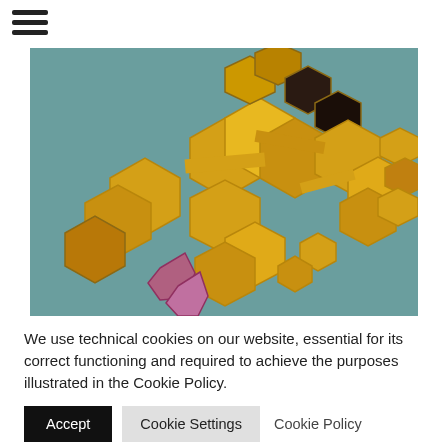[Figure (illustration): A 3D render of golden/metallic hexagonal shapes arranged in an abstract sculptural form against a teal background, with a pinkish-purple element visible at the bottom]
We use technical cookies on our website, essential for its correct functioning and required to achieve the purposes illustrated in the Cookie Policy.
Accept  Cookie Settings  Cookie Policy